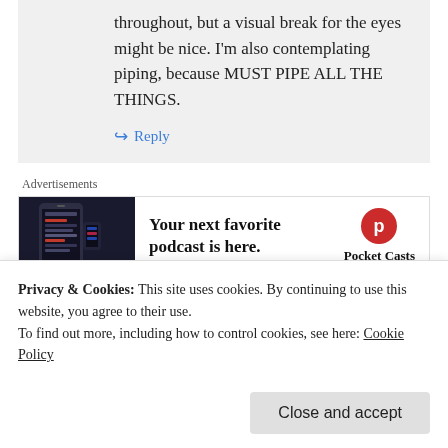throughout, but a visual break for the eyes might be nice. I'm also contemplating piping, because MUST PIPE ALL THE THINGS.
↪ Reply
Advertisements
[Figure (infographic): Pocket Casts advertisement: phone image on dark background, text 'Your next favorite podcast is here.' with Pocket Casts logo]
sewingonpins on April 29, 2014 at 8:54 am
Privacy & Cookies: This site uses cookies. By continuing to use this website, you agree to their use.
To find out more, including how to control cookies, see here: Cookie Policy